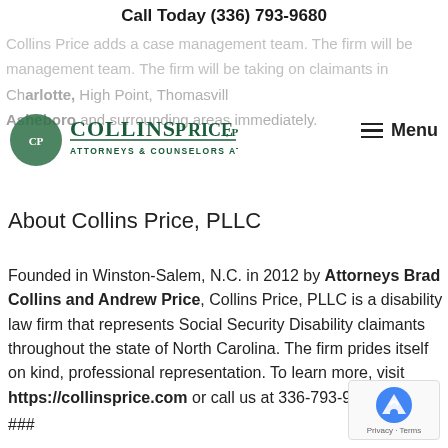Call Today (336) 793-9680
Collins Price adds a case management team. The firm will be taking on claimants in Charlotte, High Point, Thomasville, Asheboro and surrounding areas immediately.
[Figure (logo): Collins Price PLLC - Attorneys & Counselors at Law logo in dark green]
About Collins Price, PLLC
Founded in Winston-Salem, N.C. in 2012 by Attorneys Brad Collins and Andrew Price, Collins Price, PLLC is a disability law firm that represents Social Security Disability claimants throughout the state of North Carolina. The firm prides itself on kind, professional representation. To learn more, visit https://collinsprice.com or call us at 336-793-9680.
###